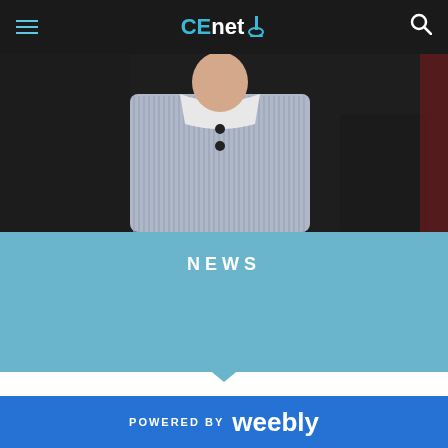CEnet – Navigation bar with hamburger menu and search icon
[Figure (photo): Close-up photo of a school student wearing a striped uniform with white collar, in a classroom setting]
NEWS
Building a community for Wollongong's maths wizards
POWERED BY weebly